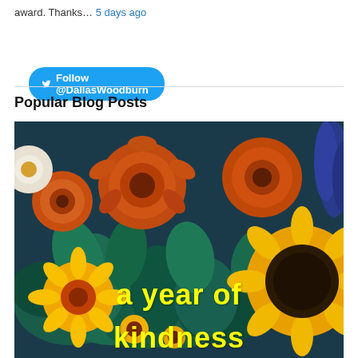award. Thanks… 5 days ago
Follow @DallasWoodburn
Popular Blog Posts
[Figure (photo): A colorful bouquet of flowers including sunflowers, orange daisy-like flowers, and yellow flowers with green leaves. Text overlay reads 'a year of kindness' in bold yellow letters.]